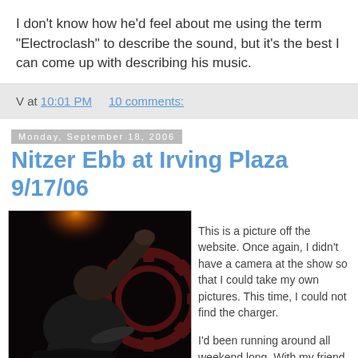I don't know how he'd feel about me using the term "Electroclash" to describe the sound, but it's the best I can come up with describing his music.
V at 10:01 PM    10 comments:
Monday, September 18, 2006
Nitzer Ebb at Irving Plaza 9/17/06
[Figure (photo): Concert photo showing a performer leaning forward over drums/equipment on a dark stage with orange/red stage lighting and a gear logo visible in the background.]
This is a picture off the website. Once again, I didn't have a camera at the show so that I could take my own pictures. This time, I could not find the charger.

I'd been running around all weekend long. With my friend celebrating his birthday, and going to...